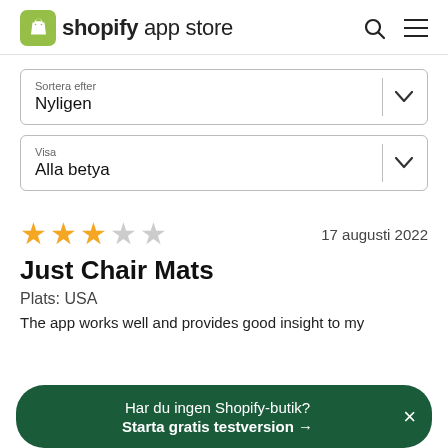shopify app store
[Figure (screenshot): Dropdown selector labeled 'Sortera efter' with value 'Nyligen' and a chevron icon]
[Figure (screenshot): Dropdown selector labeled 'Visa' with value 'Alla betya' and a chevron icon]
17 augusti 2022
Just Chair Mats
Plats: USA
The app works well and provides good insight to my
Har du ingen Shopify-butik? Starta gratis testversion →